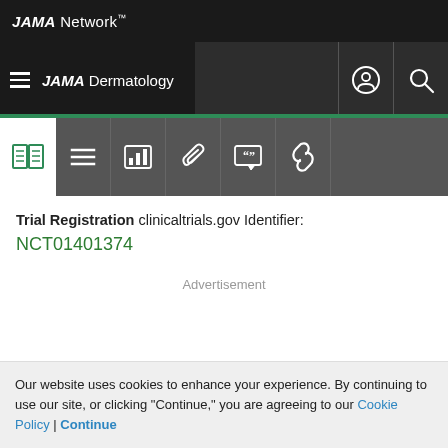JAMA Network
JAMA Dermatology
Trial Registration  clinicaltrials.gov Identifier:
NCT01401374
Advertisement
Our website uses cookies to enhance your experience. By continuing to use our site, or clicking "Continue," you are agreeing to our Cookie Policy | Continue